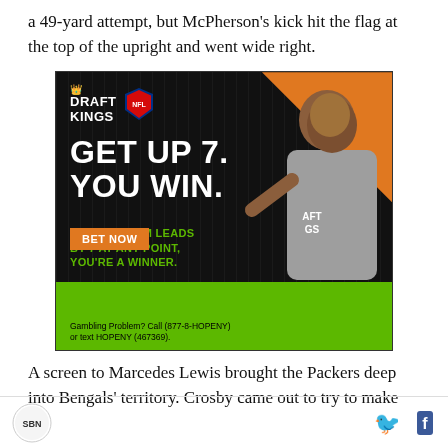a 49-yard attempt, but McPherson's kick hit the flag at the top of the upright and went wide right.
[Figure (infographic): DraftKings NFL advertisement featuring a person. Text reads: GET UP 7. YOU WIN. IF YOUR TEAM LEADS BY 7 AT ANY POINT, YOU'RE A WINNER. BET NOW button. Gambling Problem? Call (877-8-HOPENY) or text HOPENY (467369).]
A screen to Marcedes Lewis brought the Packers deep into Bengals' territory. Crosby came out to try to make